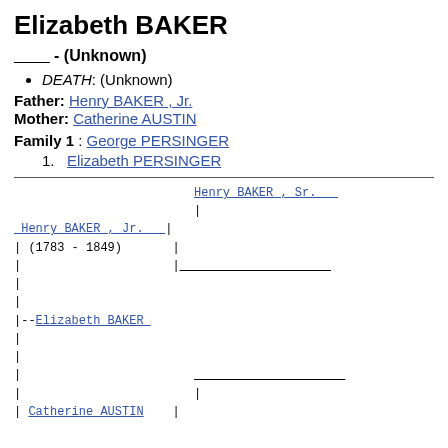Elizabeth BAKER
____ - (Unknown)
DEATH: (Unknown)
Father: Henry BAKER , Jr.
Mother: Catherine AUSTIN
Family 1 : George PERSINGER
1. Elizabeth PERSINGER
[Figure (other): Genealogy ancestor tree diagram showing Henry BAKER , Sr., Henry BAKER , Jr. (1783-1849), Elizabeth BAKER, and Catherine AUSTIN with connecting lines in monospace font.]